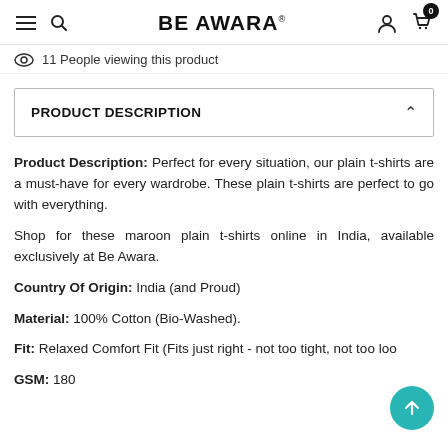BE AWARA
11 People viewing this product
PRODUCT DESCRIPTION
Product Description: Perfect for every situation, our plain t-shirts are a must-have for every wardrobe. These plain t-shirts are perfect to go with everything.
Shop for these maroon plain t-shirts online in India, available exclusively at Be Awara.
Country Of Origin: India (and Proud)
Material: 100% Cotton (Bio-Washed).
Fit: Relaxed Comfort Fit (Fits just right - not too tight, not too loo…
GSM: 180